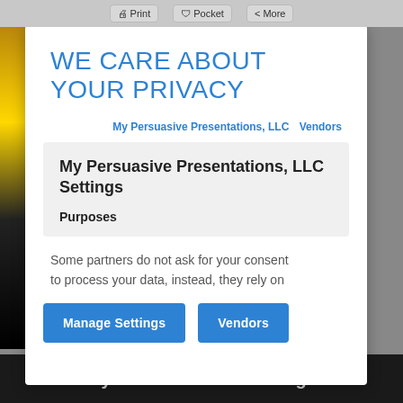Print  Pocket  More
WE CARE ABOUT YOUR PRIVACY
My Persuasive Presentations, LLC   Vendors
My Persuasive Presentations, LLC Settings
Purposes
Some partners do not ask for your consent to process your data, instead, they rely on
Manage Settings
Vendors
My Get Well Card FB Page